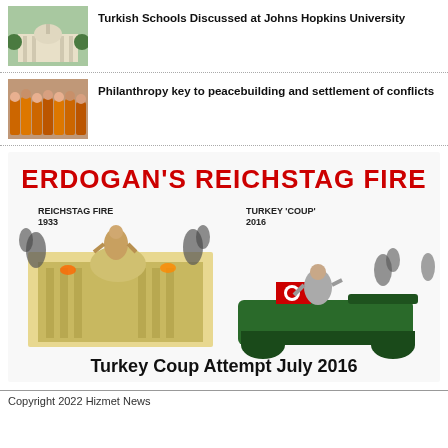[Figure (photo): Thumbnail photo of a university building with white dome]
Turkish Schools Discussed at Johns Hopkins University
[Figure (photo): Thumbnail photo of a group of people in orange robes]
Philanthropy key to peacebuilding and settlement of conflicts
[Figure (illustration): Political cartoon titled ERDOGAN'S REICHSTAG FIRE comparing the 1933 Reichstag Fire with the Turkey Coup Attempt July 2016. Left side shows Hitler figure on burning Reichstag building labeled REICHSTAG FIRE 1933; right side shows Erdogan figure on a tank labeled TURKEY 'COUP' 2016. Caption reads Turkey Coup Attempt July 2016.]
Copyright 2022 Hizmet News